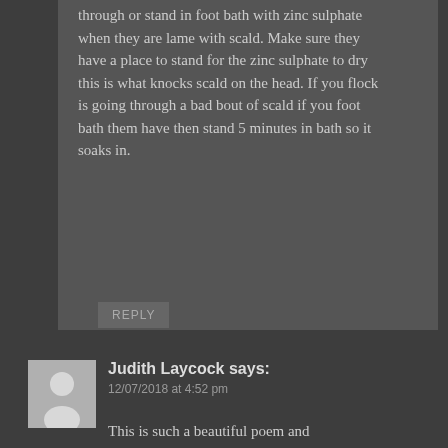through or stand in foot bath with zinc sulphate when they are lame with scald. Make sure they have a place to stand for the zinc sulphate to dry this is what knocks scald on the head. If you flock is going through a bad bout of scald if you foot bath them have then stand 5 minutes in bath so it soaks in.
REPLY
[Figure (illustration): Generic user avatar placeholder showing a silhouette of a person against a light grey background]
Judith Laycock says:
12/07/2018 at 4:52 pm
This is such a beautiful poem and